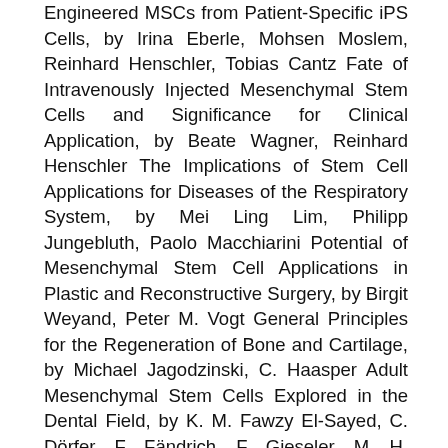Engineered MSCs from Patient-Specific iPS Cells, by Irina Eberle, Mohsen Moslem, Reinhard Henschler, Tobias Cantz Fate of Intravenously Injected Mesenchymal Stem Cells and Significance for Clinical Application, by Beate Wagner, Reinhard Henschler The Implications of Stem Cell Applications for Diseases of the Respiratory System, by Mei Ling Lim, Philipp Jungebluth, Paolo Macchiarini Potential of Mesenchymal Stem Cell Applications in Plastic and Reconstructive Surgery, by Birgit Weyand, Peter M. Vogt General Principles for the Regeneration of Bone and Cartilage, by Michael Jagodzinski, C. Haasper Adult Mesenchymal Stem Cells Explored in the Dental Field, by K. M. Fawzy El-Sayed, C. Dörfer, F. Fändrich, F. Gieseler, M. H. Moustafa, H. Ungefroren Mesenchymal Stem Cell Therapy and Lung Diseases, by Khondoker M. Akram, Sohel